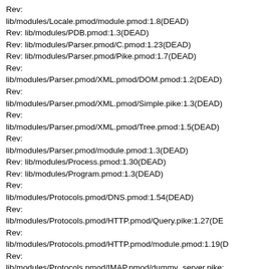Rev:
lib/modules/Locale.pmod/module.pmod:1.8(DEAD)
Rev: lib/modules/PDB.pmod:1.3(DEAD)
Rev: lib/modules/Parser.pmod/C.pmod:1.23(DEAD)
Rev: lib/modules/Parser.pmod/Pike.pmod:1.7(DEAD)
Rev:
lib/modules/Parser.pmod/XML.pmod/DOM.pmod:1.2(DEAD)
Rev:
lib/modules/Parser.pmod/XML.pmod/Simple.pike:1.3(DEAD)
Rev:
lib/modules/Parser.pmod/XML.pmod/Tree.pmod:1.5(DEAD)
Rev:
lib/modules/Parser.pmod/module.pmod:1.3(DEAD)
Rev: lib/modules/Process.pmod:1.30(DEAD)
Rev: lib/modules/Program.pmod:1.3(DEAD)
Rev:
lib/modules/Protocols.pmod/DNS.pmod:1.54(DEAD)
Rev:
lib/modules/Protocols.pmod/HTTP.pmod/Query.pike:1.27(DE...
Rev:
lib/modules/Protocols.pmod/HTTP.pmod/module.pmod:1.19(D...
Rev:
lib/modules/Protocols.pmod/IMAP.pmod/dummy_server.pike:...
Rev:
lib/modules/Protocols.pmod/IMAP.pmod/imap_server.pike:1.2...